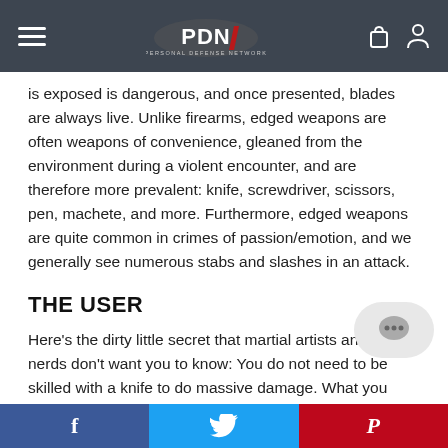PDN Personal Defense Network
is exposed is dangerous, and once presented, blades are always live. Unlike firearms, edged weapons are often weapons of convenience, gleaned from the environment during a violent encounter, and are therefore more prevalent: knife, screwdriver, scissors, pen, machete, and more. Furthermore, edged weapons are quite common in crimes of passion/emotion, and we generally see numerous stabs and slashes in an attack.
THE USER
Here’s the dirty little secret that martial artists and knife nerds don’t want you to know: You do not need to be skilled with a knife to do massive damage. What you need is intent. Someone with a knife has the potential to be deadly. The mere fact of someone willing to use a knife as opposed to a gun, for
Facebook  Twitter  Pinterest